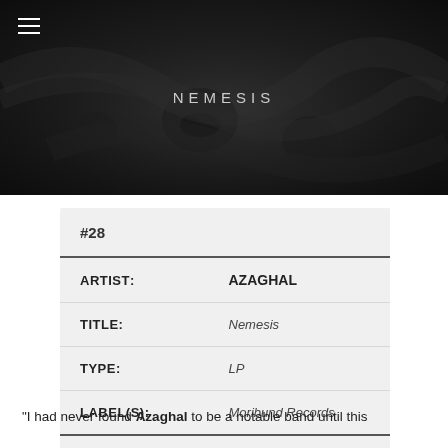[Figure (photo): Dark album artwork with skulls and smoky atmosphere, text 'NEMESIS' centered]
| #28 |  |
| ARTIST: | AZAGHAL |
| TITLE: | Nemesis |
| TYPE: | LP |
| LABEL(S): | Moribund Records |
“I had never found Azaghal to be a notable band until this